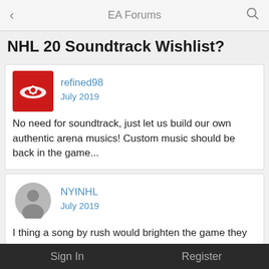EA Forums
NHL 20 Soundtrack Wishlist?
refined98
July 2019

No need for soundtrack, just let us build our own authentic arena musics! Custom music should be back in the game...
NYINHL
July 2019

I thing a song by rush would brighten the game they are hockey fans and might even make a new song
selanne8sj
July 2019
Sign In   Register